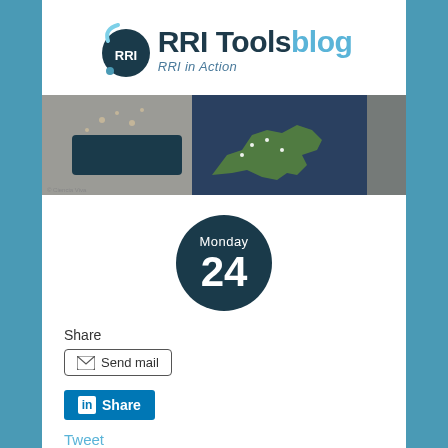[Figure (logo): RRI Tools blog logo with dark teal circular icon and text 'RRI Tools blog - RRI in Action']
[Figure (photo): Banner photo showing RRI Tools office with a map of Europe and displays]
[Figure (infographic): Dark teal circular date badge showing 'Monday 24']
Share
Send mail
Share
Tweet
Save